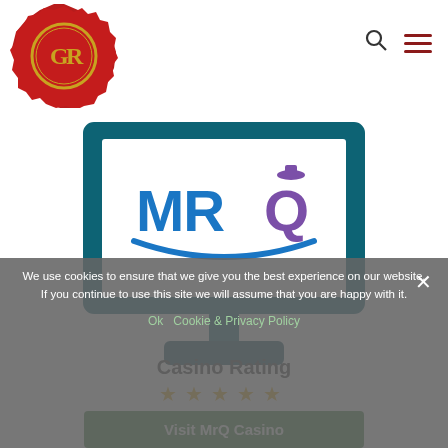[Figure (logo): GR wax seal logo - red wax seal with gold G and R letters inside a circle]
[Figure (illustration): Desktop monitor illustration in dark teal/blue color displaying the MrQ casino logo (blue MRQ text with purple Q and a smile arc beneath)]
We use cookies to ensure that we give you the best experience on our website. If you continue to use this site we will assume that you are happy with it.
Casino Rating
[Figure (other): 5 gold/orange star rating icons]
Ok   Cookie & Privacy Policy
Visit MrQ Casino